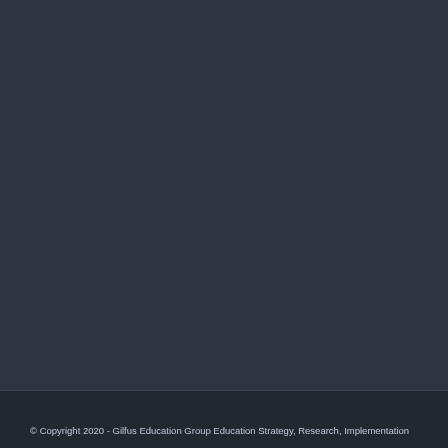© Copyright 2020 - Gilfus Education Group Education Strategy, Research, Implementation